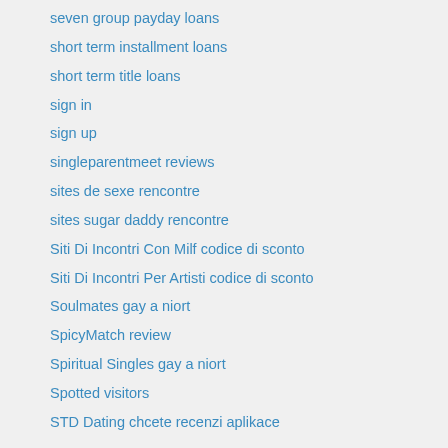seven group payday loans
short term installment loans
short term title loans
sign in
sign up
singleparentmeet reviews
sites de sexe rencontre
sites sugar daddy rencontre
Siti Di Incontri Con Milf codice di sconto
Siti Di Incontri Per Artisti codice di sconto
Soulmates gay a niort
SpicyMatch review
Spiritual Singles gay a niort
Spotted visitors
STD Dating chcete recenzi aplikace